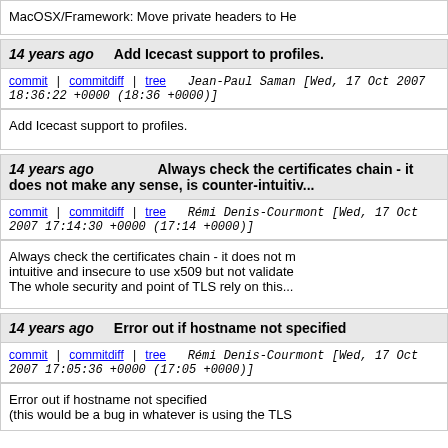MacOSX/Framework: Move private headers to He
14 years ago   Add Icecast support to profiles.
commit | commitdiff | tree   Jean-Paul Saman [Wed, 17 Oct 2007 18:36:22 +0000 (18:36 +0000)]
Add Icecast support to profiles.
14 years ago   Always check the certificates chain - it does not make any sense, is counter-intuitiv...
commit | commitdiff | tree   Rémi Denis-Courmont [Wed, 17 Oct 2007 17:14:30 +0000 (17:14 +0000)]
Always check the certificates chain - it does not m intuitive and insecure to use x509 but not validate The whole security and point of TLS rely on this...
14 years ago   Error out if hostname not specified
commit | commitdiff | tree   Rémi Denis-Courmont [Wed, 17 Oct 2007 17:05:36 +0000 (17:05 +0000)]
Error out if hostname not specified
(this would be a bug in whatever is using the TLS